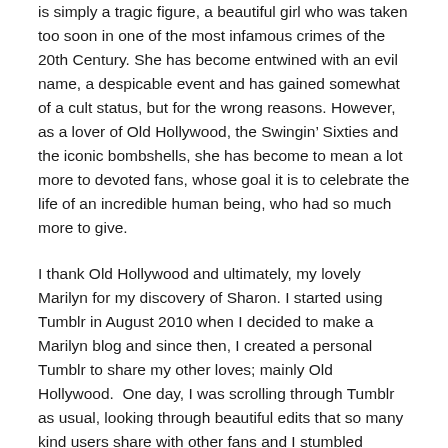is simply a tragic figure, a beautiful girl who was taken too soon in one of the most infamous crimes of the 20th Century. She has become entwined with an evil name, a despicable event and has gained somewhat of a cult status, but for the wrong reasons. However, as a lover of Old Hollywood, the Swingin' Sixties and the iconic bombshells, she has become to mean a lot more to devoted fans, whose goal it is to celebrate the life of an incredible human being, who had so much more to give.
I thank Old Hollywood and ultimately, my lovely Marilyn for my discovery of Sharon. I started using Tumblr in August 2010 when I decided to make a Marilyn blog and since then, I created a personal Tumblr to share my other loves; mainly Old Hollywood.  One day, I was scrolling through Tumblr as usual, looking through beautiful edits that so many kind users share with other fans and I stumbled across, Sharon. At first, I was in complete awe and thought to myself, who is this beautiful girl and why haven't I came across her before? The blog I first saw Sharon on was named after her most